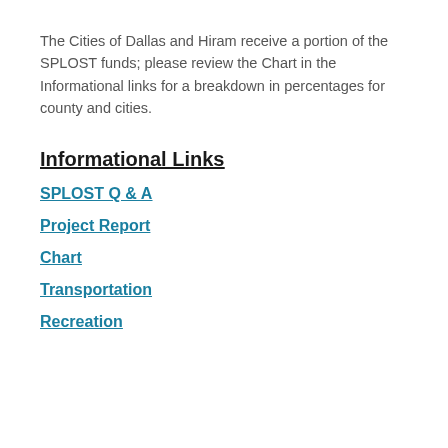The Cities of Dallas and Hiram receive a portion of the SPLOST funds; please review the Chart in the Informational links for a breakdown in percentages for county and cities.
Informational Links
SPLOST Q & A
Project Report
Chart
Transportation
Recreation